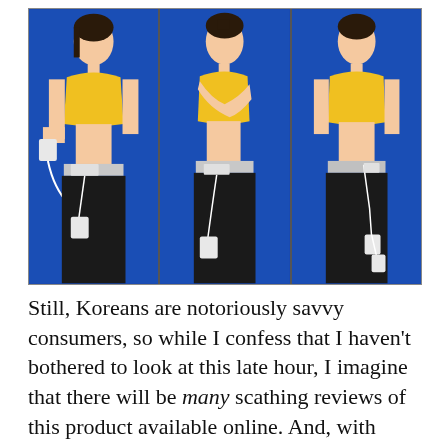[Figure (photo): Three photos of women wearing yellow sports bras and black athletic pants against a blue background, each with an electronic device attached at the waist with wires.]
Still, Koreans are notoriously savvy consumers, so while I confess that I haven't bothered to look at this late hour, I imagine that there will be many scathing reviews of this product available online. And, with obvious parallels in many other (more important) aspects of life in a democracy as